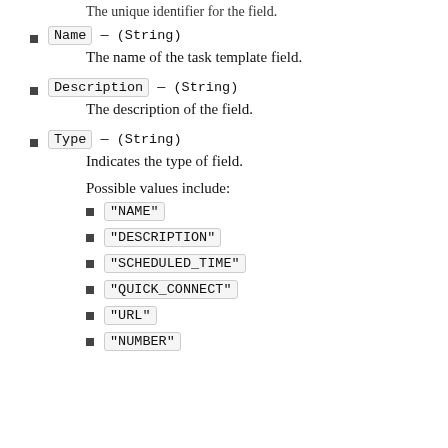The unique identifier for the field.
Name — (String)
The name of the task template field.
Description — (String)
The description of the field.
Type — (String)
Indicates the type of field.
Possible values include:
"NAME"
"DESCRIPTION"
"SCHEDULED_TIME"
"QUICK_CONNECT"
"URL"
"NUMBER"